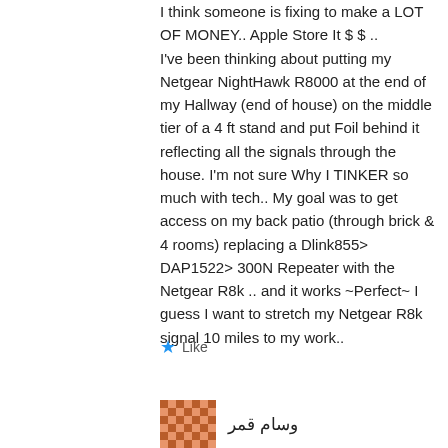I think someone is fixing to make a LOT OF MONEY.. Apple Store It $$ ..
I've been thinking about putting my Netgear NightHawk R8000 at the end of my Hallway (end of house) on the middle tier of a 4 ft stand and put Foil behind it reflecting all the signals through the house. I'm not sure Why I TINKER so much with tech.. My goal was to get access on my back patio (through brick & 4 rooms) replacing a Dlink855> DAP1522> 300N Repeater with the Netgear R8k .. and it works ~Perfect~ I guess I want to stretch my Netgear R8k signal 10 miles to my work..
★ Like
وسام قمر